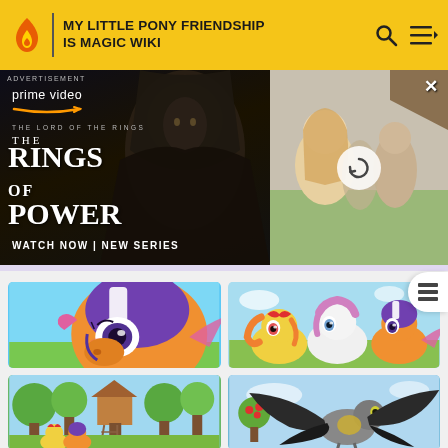MY LITTLE PONY FRIENDSHIP IS MAGIC WIKI
[Figure (screenshot): Amazon Prime Video advertisement for 'The Lord of the Rings: The Rings of Power' — dark background with hooded stone figure on left, blonde woman scene on right. Text: ADVERTISEMENT, prime video, THE LORD OF THE RINGS THE RINGS OF POWER, WATCH NOW | NEW SERIES]
[Figure (screenshot): My Little Pony animation thumbnail — Scootaloo wearing purple football helmet, orange pony close-up]
[Figure (screenshot): My Little Pony animation thumbnail — Apple Bloom, Sweetie Belle, and Scootaloo in football gear standing in field]
[Figure (screenshot): My Little Pony animation thumbnail — Cutie Mark Crusaders in orchard/treehouse scene]
[Figure (screenshot): My Little Pony animation thumbnail — Peryton or winged creature with spread dark wings in outdoor scene]